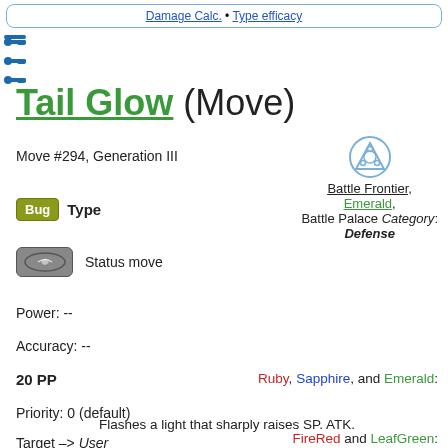Damage Calc. • Type efficacy
Tail Glow (Move)
Move #294, Generation III
Battle Frontier, Emerald, Battle Palace Category: Defense
Bug Type
[Figure (illustration): Status move category icon - gray oval with swirl]
Status move
Power: --
Accuracy: --
20 PP
Priority: 0 (default)
Target –> User
Ruby, Sapphire, and Emerald:
Flashes a light that sharply raises SP. ATK.
FireRed and LeafGreen: